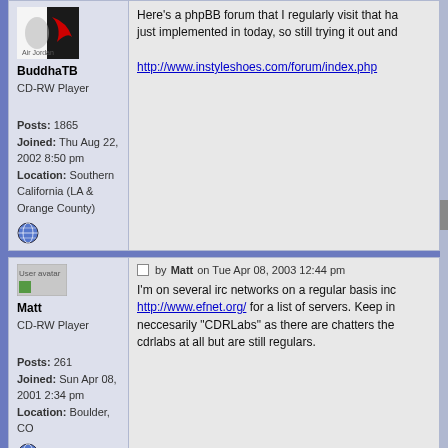[Figure (screenshot): User avatar for BuddhaTB showing Air Jordan shoes logo]
BuddhaTB
CD-RW Player
Posts: 1865
Joined: Thu Aug 22, 2002 8:50 pm
Location: Southern California (LA & Orange County)
Here's a phpBB forum that I regularly visit that ha... just implemented in today, so still trying it out and...
http://www.instyleshoes.com/forum/index.php
[Figure (illustration): User avatar placeholder for Matt]
Matt
CD-RW Player
Posts: 261
Joined: Sun Apr 08, 2001 2:34 pm
Location: Boulder, CO
Post by Matt on Tue Apr 08, 2003 12:44 pm
I'm on several irc networks on a regular basis inc... http://www.efnet.org/ for a list of servers. Keep in neccesarily "CDRLabs" as there are chatters the... cdrlabs at all but are still regulars.
Display posts from previous: All posts  Sort by  Post time
POSTREPLY